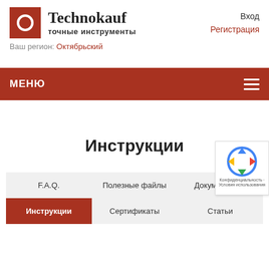[Figure (logo): Technokauf logo with red square icon containing white circle, company name and tagline 'точные инструменты']
Вход
Регистрация
Ваш регион: Октябрьский
МЕНЮ
Инструкции
F.A.Q.	Полезные файлы	Документация
Инструкции	Сертификаты	Статьи